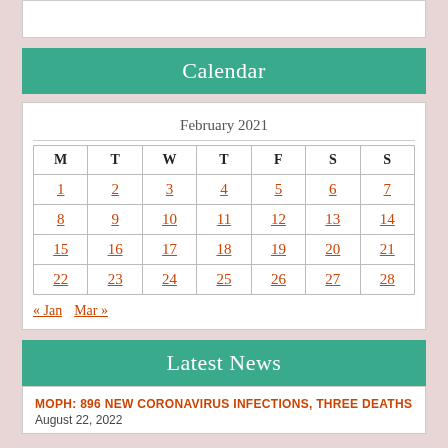Calendar
| M | T | W | T | F | S | S |
| --- | --- | --- | --- | --- | --- | --- |
| 1 | 2 | 3 | 4 | 5 | 6 | 7 |
| 8 | 9 | 10 | 11 | 12 | 13 | 14 |
| 15 | 16 | 17 | 18 | 19 | 20 | 21 |
| 22 | 23 | 24 | 25 | 26 | 27 | 28 |
« Jan   Mar »
Latest News
MOPH: 896 NEW CORONAVIRUS INFECTIONS, THREE DEATHS
August 22, 2022